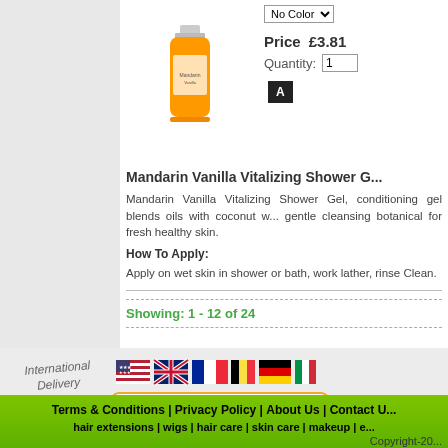[Figure (photo): Orange product bottle - Mandarin Vanilla Vitalizing Shower Gel]
No Color (dropdown)
Price  £3.81
Quantity: 1
Mandarin Vanilla Vitalizing Shower G...
Mandarin Vanilla Vitalizing Shower Gel, conditioning gel blends oils with coconut w... gentle cleansing botanical for fresh healthy skin.
How To Apply:
Apply on wet skin in shower or bath, work lather, rinse Clean.
Showing: 1 - 12 of 24
International Delivery
[Figure (illustration): Country flags: USA, UK, France, Belgium/vertical tricolor, Germany, Italy, Hungary/other flags]
[Figure (logo): Secured by Positive SSL badge]
Terms & Conditions | Privacy Policy | About Us | Contact U...
hair extensions | wigs | hair care | skin care | makeup | e...
Copyright-20...